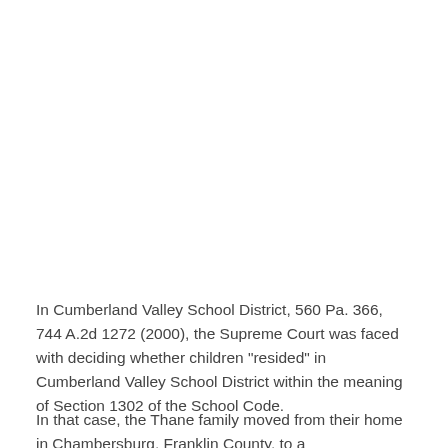In Cumberland Valley School District, 560 Pa. 366, 744 A.2d 1272 (2000), the Supreme Court was faced with deciding whether children "resided" in Cumberland Valley School District within the meaning of Section 1302 of the School Code.
In that case, the Thane family moved from their home in Chambersburg, Franklin County, to a